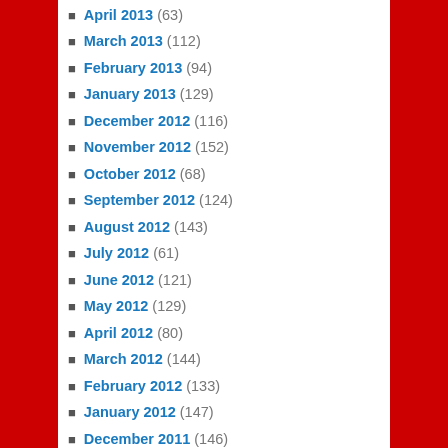April 2013 (63)
March 2013 (112)
February 2013 (94)
January 2013 (129)
December 2012 (116)
November 2012 (152)
October 2012 (68)
September 2012 (124)
August 2012 (143)
July 2012 (61)
June 2012 (121)
May 2012 (129)
April 2012 (80)
March 2012 (144)
February 2012 (133)
January 2012 (147)
December 2011 (146)
November 2011 (95)
October 2011 (122)
September 2011 (102)
August 2011 (106)